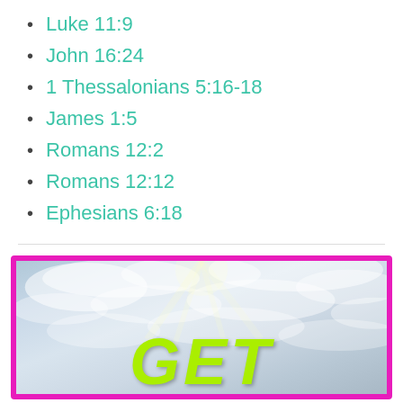Luke 11:9
John 16:24
1 Thessalonians 5:16-18
James 1:5
Romans 12:2
Romans 12:12
Ephesians 6:18
[Figure (illustration): Sky with clouds background image with large bold lime-green italic text 'GET' at the bottom, framed by a bright pink/magenta border.]